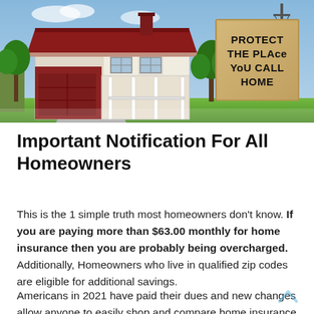[Figure (photo): Photo of a suburban house with red roof and white weatherboard exterior, with a person holding a cardboard sign reading 'PROTECT THE PLACE YOU CALL HOME']
Important Notification For All Homeowners
This is the 1 simple truth most homeowners don't know. If you are paying more than $63.00 monthly for home insurance then you are probably being overcharged. Additionally, Homeowners who live in qualified zip codes are eligible for additional savings.
Americans in 2021 have paid their dues and new changes allow anyone to easily shop and compare home insurance quotes online in minutes. Many